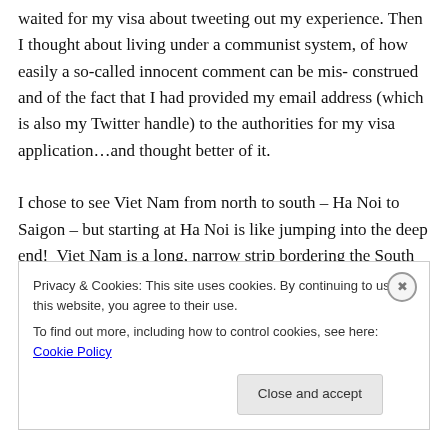waited for my visa about tweeting out my experience. Then I thought about living under a communist system, of how easily a so-called innocent comment can be misconstrued and of the fact that I had provided my email address (which is also my Twitter handle) to the authorities for my visa application…and thought better of it.

I chose to see Viet Nam from north to south – Ha Noi to Saigon – but starting at Ha Noi is like jumping into the deep end!  Viet Nam is a long, narrow strip bordering the South China Sea or, as its referred to in Viet Nam – the East Sea. The difference in perspective either by Chin…
Privacy & Cookies: This site uses cookies. By continuing to use this website, you agree to their use.
To find out more, including how to control cookies, see here: Cookie Policy